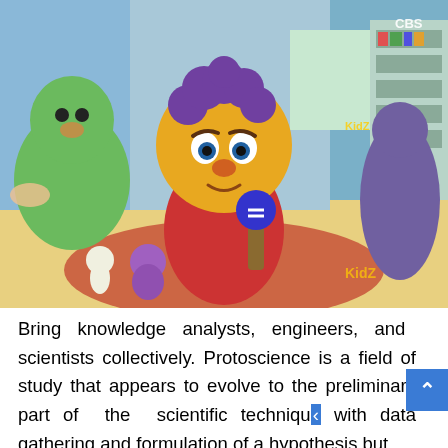[Figure (screenshot): Screenshot from an animated children's TV show featuring clay/puppet-style cartoon characters. A yellow character with purple curly hair wearing a red shirt holds a blue microphone in the center. A large green character is on the left, a purple character on the right, and various toy-like figures in the background. The setting appears to be a colorful indoor playroom with bookshelves.]
Bring knowledge analysts, engineers, and scientists collectively. Protoscience is a field of study that appears to evolve to the preliminary part of the scientific techniqu with data gathering and formulation of a hypothesis but